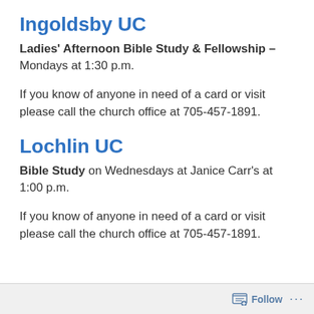Ingoldsby UC
Ladies' Afternoon Bible Study & Fellowship – Mondays at 1:30 p.m.
If you know of anyone in need of a card or visit please call the church office at 705-457-1891.
Lochlin UC
Bible Study on Wednesdays at Janice Carr's at 1:00 p.m.
If you know of anyone in need of a card or visit please call the church office at 705-457-1891.